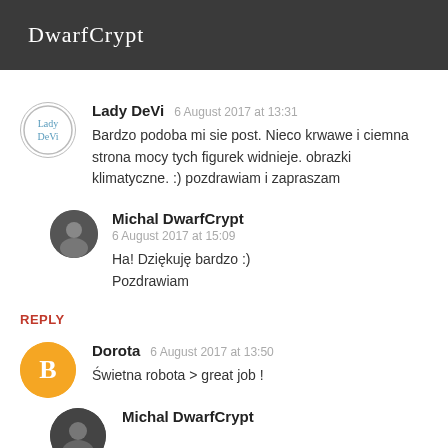DwarfCrypt
Lady DeVi  6 August 2017 at 13:31
Bardzo podoba mi sie post. Nieco krwawe i ciemna strona mocy tych figurek widnieje. obrazki klimatyczne. :) pozdrawiam i zapraszam
Michal DwarfCrypt
6 August 2017 at 15:09
Ha! Dziękuję bardzo :) Pozdrawiam
REPLY
Dorota  6 August 2017 at 13:50
Świetna robota > great job !
Michal DwarfCrypt